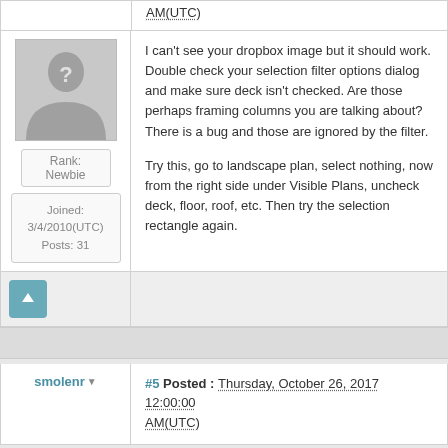AM(UTC)
[Figure (illustration): Default user avatar silhouette (person with question mark) in gray]
Rank: Newbie
Joined: 3/4/2010(UTC)
Posts: 31
I can't see your dropbox image but it should work. Double check your selection filter options dialog and make sure deck isn't checked. Are those perhaps framing columns you are talking about? There is a bug and those are ignored by the filter.

Try this, go to landscape plan, select nothing, now from the right side under Visible Plans, uncheck deck, floor, roof, etc. Then try the selection rectangle again.
#5 Posted : Thursday, October 26, 2017 12:00:00 AM(UTC)
smolenr